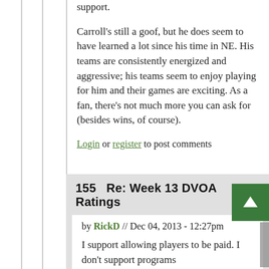support.
Carroll's still a goof, but he does seem to have learned a lot since his time in NE. His teams are consistently energized and aggressive; his teams seem to enjoy playing for him and their games are exciting. As a fan, there's not much more you can ask for (besides wins, of course).
Log in or register to post comments
155   Re: Week 13 DVOA Ratings
by RickD // Dec 04, 2013 - 12:27pm
I support allowing players to be paid. I don't support programs